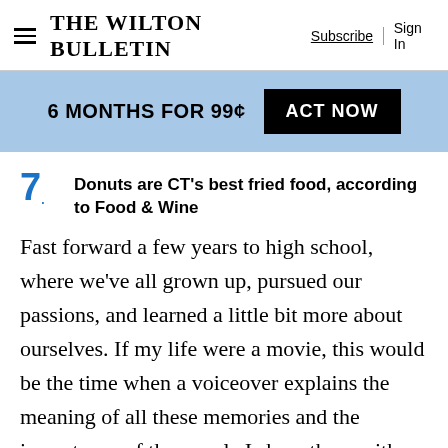The Wilton Bulletin | Subscribe | Sign In
[Figure (infographic): Promotional banner: 6 MONTHS FOR 99¢ with ACT NOW button on light blue background]
7. Donuts are CT's best fried food, according to Food & Wine
Fast forward a few years to high school, where we've all grown up, pursued our passions, and learned a little bit more about ourselves. If my life were a movie, this would be the time when a voiceover explains the meaning of all these memories and the importance of the people I share them with. As the credits roll, the names of every teacher, coach, and friend scrolls by